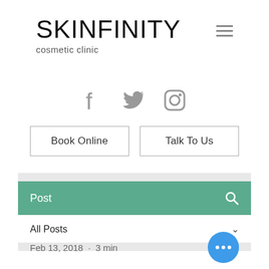SKINFINITY cosmetic clinic
[Figure (logo): Skinfinity cosmetic clinic logo with hamburger menu icon]
[Figure (infographic): Social media icons: Facebook, Twitter, Instagram in gray]
Book Online
Talk To Us
Post
All Posts
Feb 13, 2018  ·  3 min